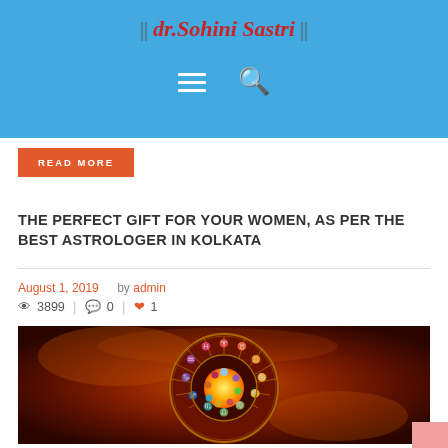|| dr.Sohini Sastri ||
READ MORE
THE PERFECT GIFT FOR YOUR WOMEN, AS PER THE BEST ASTROLOGER IN KOLKATA
August 1, 2019  by admin
3899  |  0  |  1
[Figure (photo): Circular zodiac wheel with 12 astrological signs in gold on dark red background, with gemstones in the center, set against an orange nebula/cosmic background]